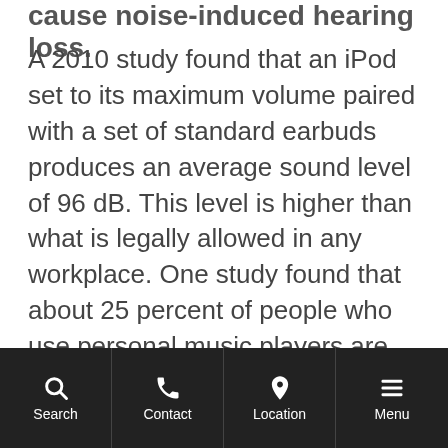cause noise-induced hearing loss.
A 2010 study found that an iPod set to its maximum volume paired with a set of standard earbuds produces an average sound level of 96 dB. This level is higher than what is legally allowed in any workplace. One study found that about 25 percent of people who use personal music players are exposed to daily noise levels that can cause damage. Another study found that 90 percent of all adolescents listen to music using earbuds; almost half of those individuals use a high-volume setting that can cause hearing loss.
Search  Contact  Location  Menu